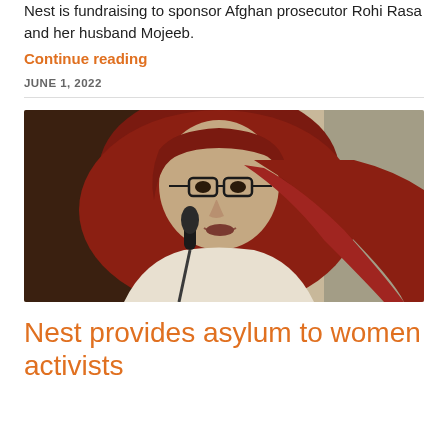Nest is fundraising to sponsor Afghan prosecutor Rohi Rasa and her husband Mojeeb.
Continue reading
JUNE 1, 2022
[Figure (photo): A woman wearing a dark red hijab and glasses speaking into a microphone]
Nest provides asylum to women activists